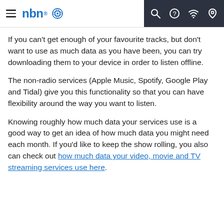nbn (logo with navigation icons)
If you can't get enough of your favourite tracks, but don't want to use as much data as you have been, you can try downloading them to your device in order to listen offline.
The non-radio services (Apple Music, Spotify, Google Play and Tidal) give you this functionality so that you can have flexibility around the way you want to listen.
Knowing roughly how much data your services use is a good way to get an idea of how much data you might need each month. If you'd like to keep the show rolling, you also can check out how much data your video, movie and TV streaming services use here.